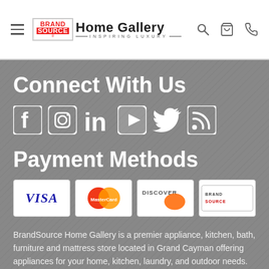BrandSource Home Gallery — Inspiring Luxury
Connect With Us
[Figure (infographic): Social media icons: Facebook, Instagram, LinkedIn, YouTube, Twitter, RSS]
Payment Methods
[Figure (infographic): Payment method logos: Visa, MasterCard, Discover, BrandSource]
BrandSource Home Gallery is a premier appliance, kitchen, bath, furniture and mattress store located in Grand Cayman offering appliances for your home, kitchen, laundry, and outdoor needs. We specialize in remodeling services such as custom closets, cabinets, bath, and faucets. We also